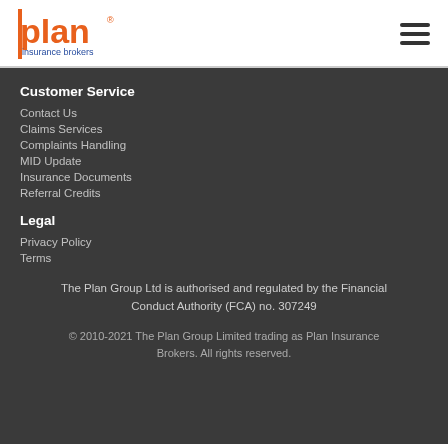[Figure (logo): Plan Insurance Brokers logo — orange 'plan' text with registered trademark symbol, blue 'insurance brokers' text below]
Customer Service
Contact Us
Claims Services
Complaints Handling
MID Update
Insurance Documents
Referral Credits
Legal
Privacy Policy
Terms
The Plan Group Ltd is authorised and regulated by the Financial Conduct Authority (FCA) no. 307249
© 2010-2021 The Plan Group Limited trading as Plan Insurance Brokers. All rights reserved.